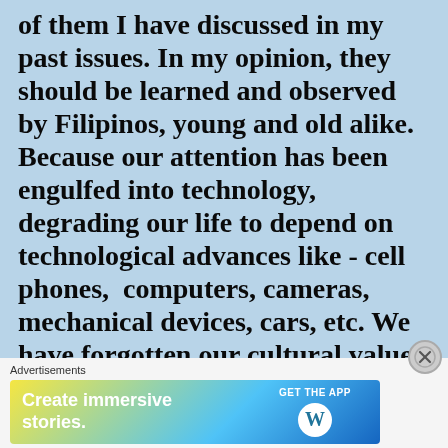of them I have discussed in my past issues. In my opinion, they should be learned and observed by Filipinos, young and old alike. Because our attention has been engulfed into technology, degrading our life to depend on technological advances like - cell phones,  computers, cameras, mechanical devices, cars, etc. We have forgotten our cultural values and traditions that remain valuable in the conduct of our lives.
[Figure (other): Close button (X) circle icon]
Advertisements
[Figure (other): WordPress advertisement banner reading 'Create immersive stories.' with GET THE APP button and WordPress logo]